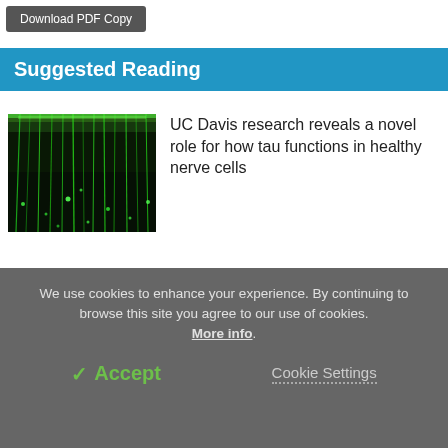Download PDF Copy
Suggested Reading
[Figure (photo): Fluorescence microscopy image of green glowing nerve cell fibers against dark background]
UC Davis research reveals a novel role for how tau functions in healthy nerve cells
[Figure (photo): MRI brain scan images arranged in a grid, grayscale]
EPFL scientists uncover key mechanisms underlying the formation of protein tangles in the brain
We use cookies to enhance your experience. By continuing to browse this site you agree to our use of cookies. More info.
✓ Accept
Cookie Settings